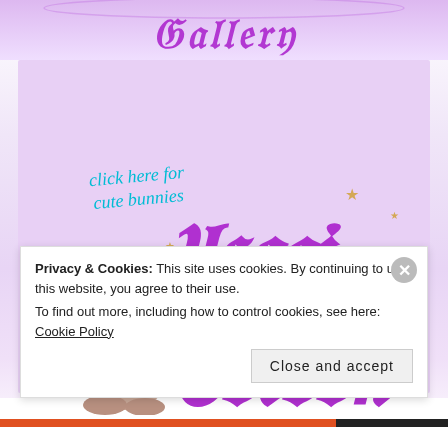[Figure (screenshot): Screenshot of a website called 'Usagi Cocoon' with a decorative purple/lavender background, gothic-style purple text reading 'Usagi Cocoon', a photo of a fluffy bunny rabbit, cyan italic text reading 'click here for cute bunnies', gold star decorations, and a cookie consent banner at the bottom reading 'Privacy & Cookies: This site uses cookies. By continuing to use this website, you agree to their use. To find out more, including how to control cookies, see here: Cookie Policy' with a 'Close and accept' button.]